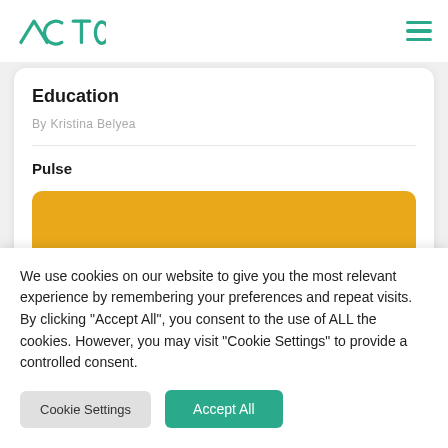ACTO
Education
By Kristina Belyea
Pulse
[Figure (other): Yellow/gold rounded rectangle banner element]
We use cookies on our website to give you the most relevant experience by remembering your preferences and repeat visits. By clicking "Accept All", you consent to the use of ALL the cookies. However, you may visit "Cookie Settings" to provide a controlled consent.
Cookie Settings | Accept All